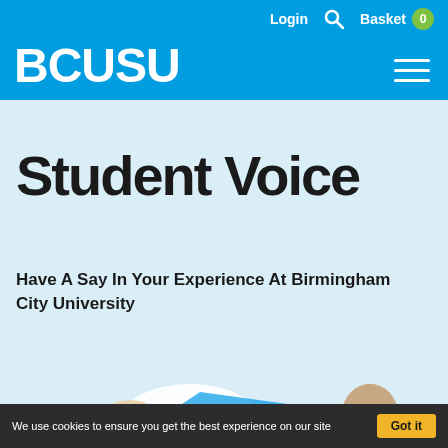Login  Search  Basket 0
BCUSU
Student Voice
Have A Say In Your Experience At Birmingham City University
[Figure (illustration): Partial illustration of cartoon student figures at the bottom of the hero section]
We use cookies to ensure you get the best experience on our site